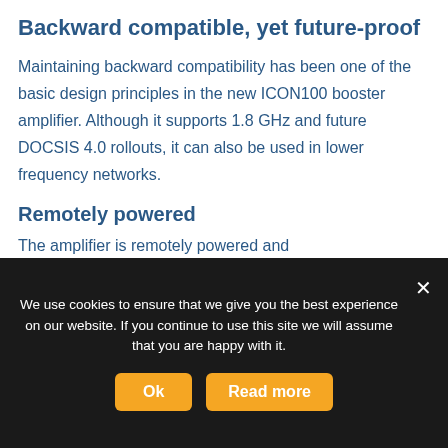Backward compatible, yet future-proof
Maintaining backward compatibility has been one of the basic design principles in the new ICON100 booster amplifier. Although it supports 1.8 GHz and future DOCSIS 4.0 rollouts, it can also be used in lower frequency networks.
Remotely powered
The amplifier is remotely powered and
We use cookies to ensure that we give you the best experience on our website. If you continue to use this site we will assume that you are happy with it.